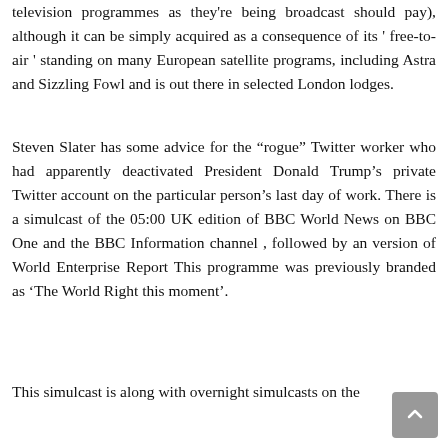television programmes as they're being broadcast should pay), although it can be simply acquired as a consequence of its ' free-to-air ' standing on many European satellite programs, including Astra and Sizzling Fowl and is out there in selected London lodges.
Steven Slater has some advice for the “rogue” Twitter worker who had apparently deactivated President Donald Trump’s private Twitter account on the particular person’s last day of work. There is a simulcast of the 05:00 UK edition of BBC World News on BBC One and the BBC Information channel , followed by an version of World Enterprise Report This programme was previously branded as ‘The World Right this moment’.
This simulcast is along with overnight simulcasts on the